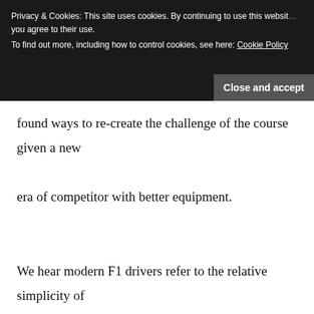[Figure (screenshot): Cookie consent banner overlay with dark background. Text: 'Privacy & Cookies: This site uses cookies. By continuing to use this website you agree to their use. To find out more, including how to control cookies, see here: Cookie Policy'. Button: 'Close and accept'.]
found ways to re-create the challenge of the course given a new era of competitor with better equipment.

We hear modern F1 drivers refer to the relative simplicity of corners like 130R and Eau Rouge and this is an indictment on the sport's governing body's desire to retain the challenge of such great sections of F1 history in a modern yet equally challenging and 'punishing' form.